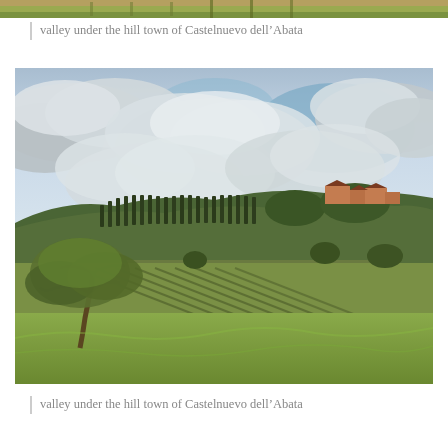[Figure (photo): Partial top of a Tuscan landscape photograph showing a strip of hills with cypress trees and harvested fields]
valley under the hill town of Castelnuevo dell’Abata
[Figure (photo): Photograph of a valley under the hill town of Castelnuevo dell’Abata, Tuscany. Shows rolling green hills with olive trees and cypress trees, cultivated fields with ploughed rows, a hilltop settlement with terracotta buildings, and a dramatic cloudy sky]
valley under the hill town of Castelnuevo dell’Abata